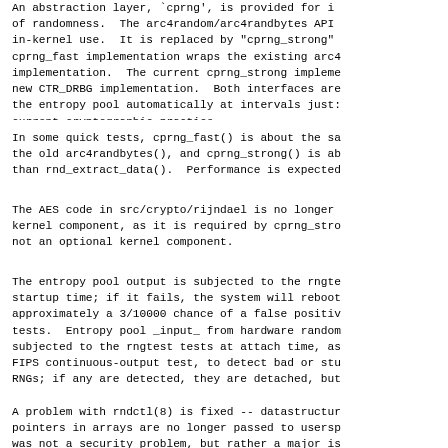An abstraction layer, `cprng', is provided for in- of randomness.  The arc4random/arc4randbytes API in-kernel use.  It is replaced by "cprng_strong" cprng_fast implementation wraps the existing arc4 implementation.  The current cprng_strong impleme new CTR_DRBG implementation.  Both interfaces are the entropy pool automatically at intervals just: current cryptographic practice.
In some quick tests, cprng_fast() is about the sa the old arc4randbytes(), and cprng_strong() is ab than rnd_extract_data().  Performance is expected
The AES code in src/crypto/rijndael is no longer kernel component, as it is required by cprng_stro not an optional kernel component.
The entropy pool output is subjected to the rngte startup time; if it fails, the system will reboot approximately a 3/10000 chance of a false positiv tests.  Entropy pool _input_ from hardware random subjected to the rngtest tests at attach time, as FIPS continuous-output test, to detect bad or stu RNGs; if any are detected, they are detached, but continues to run.
A problem with rndctl(8) is fixed -- datastructur pointers in arrays are no longer passed to usersp was not a security problem, but rather a major is compat32).  A new kernel will require a new rndc